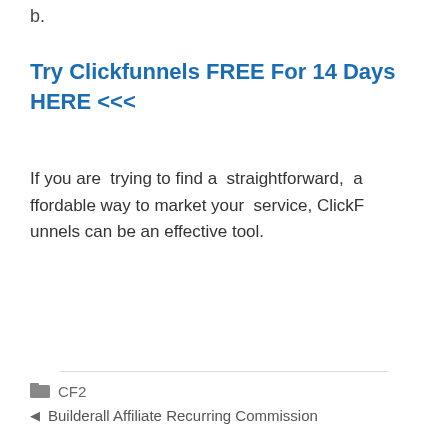b.
Try Clickfunnels FREE For 14 Days HERE <<<
If you are trying to find a straightforward, affordable way to market your service, ClickFunnels can be an effective tool.
CF2
Builderall Affiliate Recurring Commission